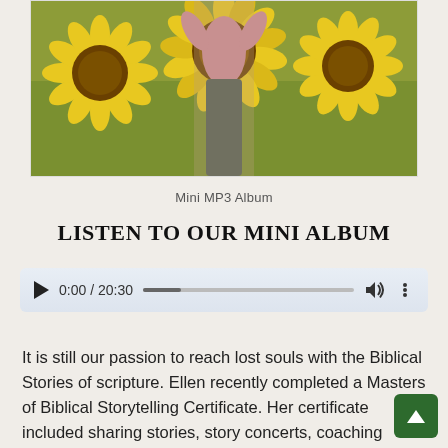[Figure (photo): A person standing in a sunflower field, wearing a pink top. The sunflowers are large and yellow with dark centers.]
Mini MP3 Album
LISTEN TO OUR MINI ALBUM
[Figure (screenshot): Audio player UI showing play button, time 0:00 / 20:30, progress bar, volume icon, and options dots.]
It is still our passion to reach lost souls with the Biblical Stories of scripture. Ellen recently completed a Masters of Biblical Storytelling Certificate. Her certificate included sharing stories, story concerts, coaching storytellers, a teaching.